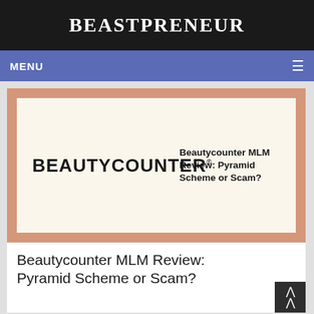BEASTPRENEUR
MENU
[Figure (screenshot): Beautycounter brand logo on cream background inside a salmon/peach border frame, with text 'Beautycounter MLM Review: Pyramid Scheme or Scam?' on the right side]
Beautycounter MLM Review: Pyramid Scheme or Scam?